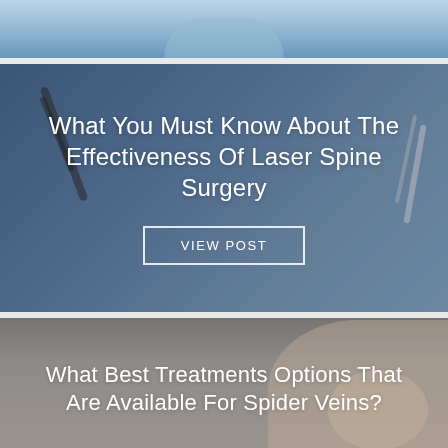[Figure (photo): Partial view of a medical/surgical scene — gloved hands in blue gloves, top of image cropped]
[Figure (photo): Medical surgical scene showing gloved hands holding a laparoscopic or laser surgical instrument, blue-toned operating room background]
What You Must Know About The Effectiveness Of Laser Spine Surgery
VIEW POST
[Figure (photo): Close-up of skin showing spider veins or varicose veins on a leg, warm grey-brown toned background]
What Best Treatments Options That Are Available For Spider Veins?